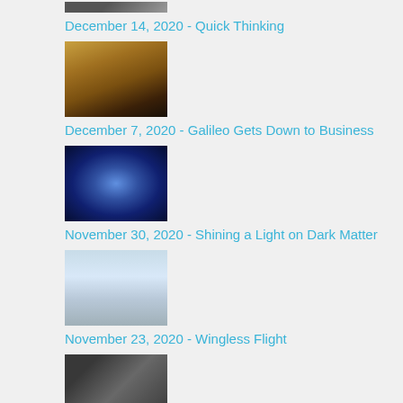[Figure (photo): Partial thumbnail image at top (cropped)]
December 14, 2020 - Quick Thinking
[Figure (photo): Thumbnail of a planet (yellowish-brown, likely Europa or similar)]
December 7, 2020 - Galileo Gets Down to Business
[Figure (photo): Thumbnail of a star cluster with blue nebula]
November 30, 2020 - Shining a Light on Dark Matter
[Figure (photo): Thumbnail of an aircraft or spacecraft in desert/sky setting]
November 23, 2020 - Wingless Flight
[Figure (photo): Thumbnail of an asteroid (dark, rocky)]
November 16, 2020 - Robotic Rock Hound
[Figure (photo): Thumbnail of a galaxy (spiral, dark background)]
November 9, 2020 - Recognizing Red Shift